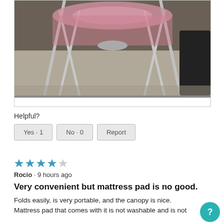[Figure (photo): Photo of a pink baby crib or pack-and-play with a canopy, viewed from the front on a carpeted floor]
Helpful?
Yes · 1   No · 0   Report
★★★★☆ Rocio · 9 hours ago
Very convenient but mattress pad is no good.
Folds easily, is very portable, and the canopy is nice. Mattress pad that comes with it is not washable and is not